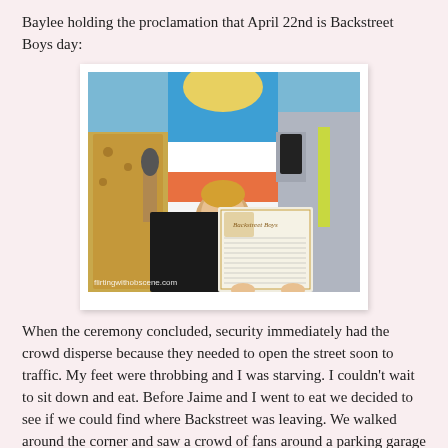Baylee holding the proclamation that April 22nd is Backstreet Boys day:
[Figure (photo): A young blonde boy holds up a framed proclamation document reading 'Backstreet Boys' while standing in front of adults at an outdoor ceremony. Watermark: flirtingwithobscene.com]
When the ceremony concluded, security immediately had the crowd disperse because they needed to open the street soon to traffic. My feet were throbbing and I was starving. I couldn't wait to sit down and eat. Before Jaime and I went to eat we decided to see if we could find where Backstreet was leaving. We walked around the corner and saw a crowd of fans around a parking garage entrance.